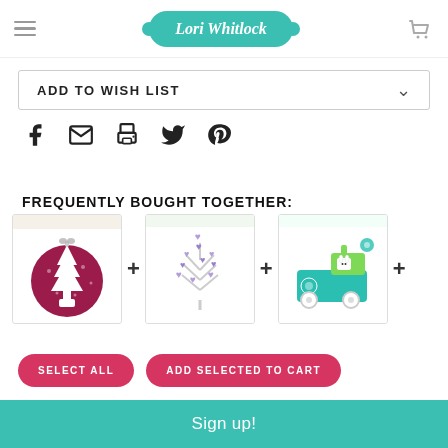Lori Whitlock
ADD TO WISH LIST
[Figure (illustration): Social media share icons: Facebook, Email, Print, Twitter, Pinterest]
FREQUENTLY BOUGHT TOGETHER:
[Figure (photo): Christmas ornament with white tree cutout on dark pink/magenta circular background]
[Figure (illustration): Purple heart tree die cut product on white background]
[Figure (illustration): Teal bunny train cartoon sticker set on white background]
SELECT ALL
ADD SELECTED TO CART
Sign up!